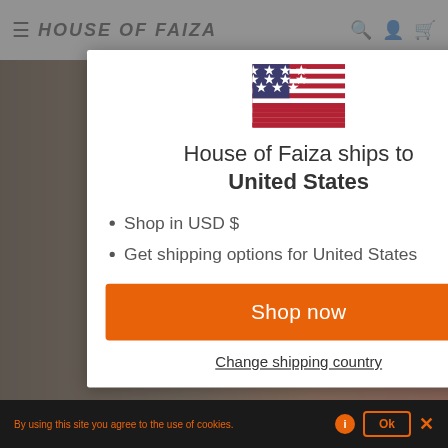HOUSE of FAIZA
[Figure (screenshot): Modal dialog showing USA flag, shipping info and shop now button]
House of Faiza ships to United States
Shop in USD $
Get shipping options for United States
Shop now
Change shipping country
By using this site you agree to the use of cookies. Ok ×